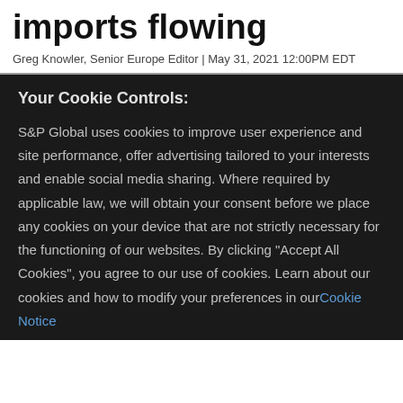imports flowing
Greg Knowler, Senior Europe Editor | May 31, 2021 12:00PM EDT
Your Cookie Controls:
S&P Global uses cookies to improve user experience and site performance, offer advertising tailored to your interests and enable social media sharing. Where required by applicable law, we will obtain your consent before we place any cookies on your device that are not strictly necessary for the functioning of our websites. By clicking "Accept All Cookies", you agree to our use of cookies. Learn about our cookies and how to modify your preferences in our Cookie Notice